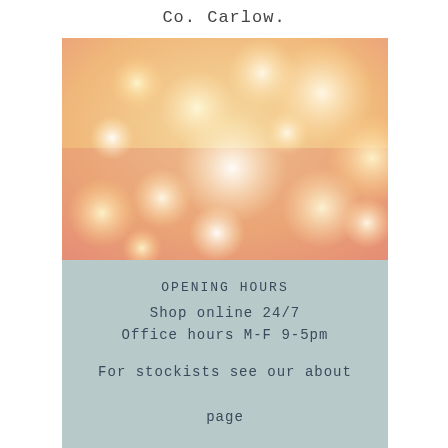Co. Carlow.
[Figure (photo): Blurred bokeh background image with warm orange, peach, and cream light spots on a soft gradient background transitioning from yellow-orange at top to peach-pink at bottom.]
OPENING HOURS
Shop online 24/7
Office hours M-F 9-5pm
For stockists see our about page